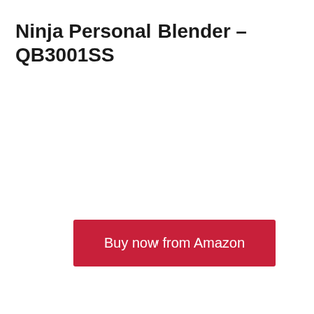Ninja Personal Blender – QB3001SS
Buy now from Amazon